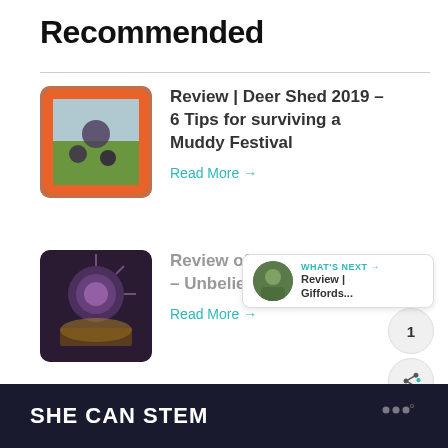Recommended
Review | Deer Shed 2019 – 6 Tips for surviving a Muddy Festival
Read More →
Review of Gandeys Circus – Unbelievable
Read More →
WHAT'S NEXT → Review | Giffords...
SHE CAN STEM